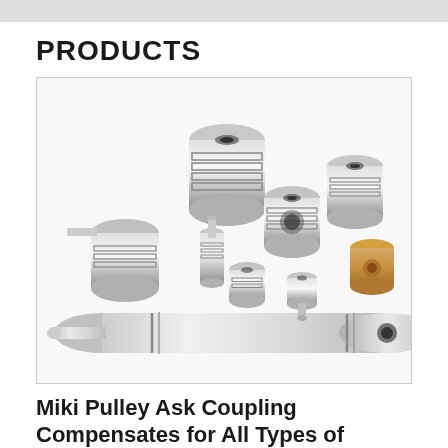PRODUCTS
[Figure (photo): Collection of various metallic shaft couplings and flexible couplings of different sizes, including a large elongated cylindrical coupling in the foreground and multiple smaller jaw/beam couplings in the background, all made of polished aluminum/steel, with one small coupling made of bronze/wood material.]
Miki Pulley Ask Coupling Compensates for All Types of